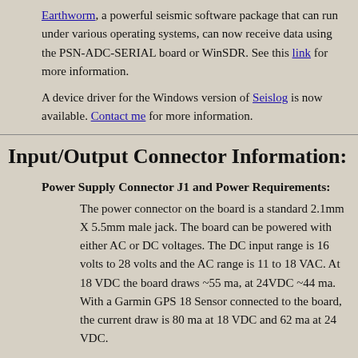Earthworm, a powerful seismic software package that can run under various operating systems, can now receive data using the PSN-ADC-SERIAL board or WinSDR. See this link for more information.
A device driver for the Windows version of Seislog is now available. Contact me for more information.
Input/Output Connector Information:
Power Supply Connector J1 and Power Requirements:
The power connector on the board is a standard 2.1mm X 5.5mm male jack. The board can be powered with either AC or DC voltages. The DC input range is 16 volts to 28 volts and the AC range is 11 to 18 VAC. At 18 VDC the board draws ~55 ma, at 24VDC ~44 ma. With a Garmin GPS 18 Sensor connected to the board, the current draw is 80 ma at 18 VDC and 62 ma at 24 VDC.